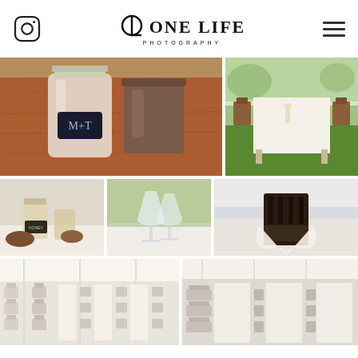[Figure (logo): One Life Photography logo with OL monogram icon]
[Figure (photo): Mason jar with M+T chalkboard label and metal bucket on wooden table]
[Figure (photo): Outdoor wedding reception long table with white linen and wooden chairs]
[Figure (photo): Mason jars with flowers on wedding table setting]
[Figure (photo): Wine glasses on white table linen]
[Figure (photo): Dark wooden chair with white tulle decor at wedding reception]
[Figure (photo): Tent wedding reception with rows of chairs and tables, left view]
[Figure (photo): Tent wedding reception with rows of chairs and tables, right view]